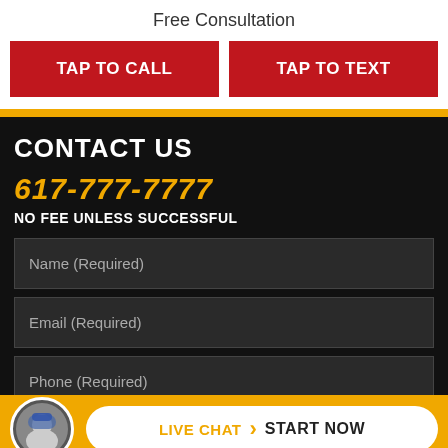Free Consultation
TAP TO CALL
TAP TO TEXT
CONTACT US
617-777-7777
NO FEE UNLESS SUCCESSFUL
Name (Required)
Email (Required)
Phone (Required)
Mes...
LIVE CHAT  START NOW